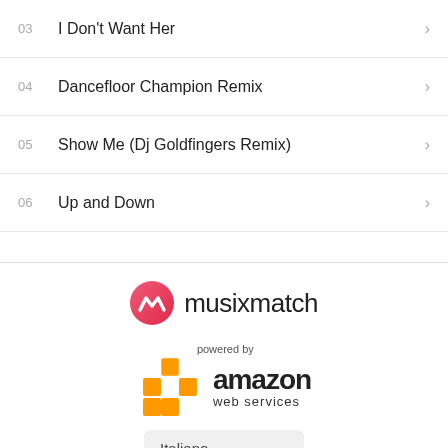03   I Don't Want Her
04   Dancefloor Champion Remix
05   Show Me (Dj Goldfingers Remix)
06   Up and Down
[Figure (logo): Musixmatch logo: pink circle with stylized M icon and 'musixmatch' text]
[Figure (logo): Amazon Web Services logo with orange 3D cube icons and text 'powered by amazon web services']
Italiano